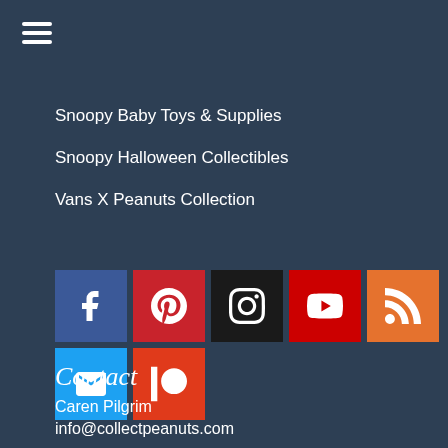[Figure (other): Hamburger menu icon (three horizontal white lines)]
Snoopy Baby Toys & Supplies
Snoopy Halloween Collectibles
Vans X Peanuts Collection
[Figure (infographic): Social media icon grid: Facebook (blue), Pinterest (red), Instagram (dark), YouTube (red), RSS (orange), Email (blue), Patreon (orange-red)]
Contact
Caren Pilgrim
info@collectpeanuts.com